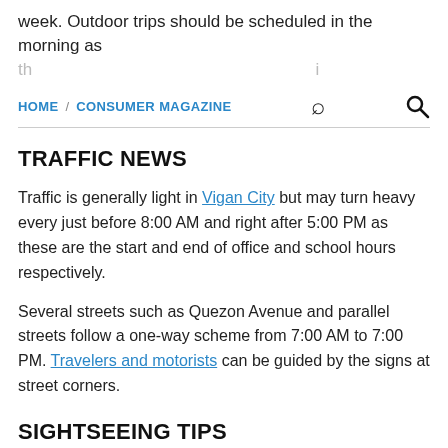week. Outdoor trips should be scheduled in the morning as the...
HOME / CONSUMER MAGAZINE
TRAFFIC NEWS
Traffic is generally light in Vigan City but may turn heavy every just before 8:00 AM and right after 5:00 PM as these are the start and end of office and school hours respectively.
Several streets such as Quezon Avenue and parallel streets follow a one-way scheme from 7:00 AM to 7:00 PM. Travelers and motorists can be guided by the signs at street corners.
SIGHTSEEING TIPS